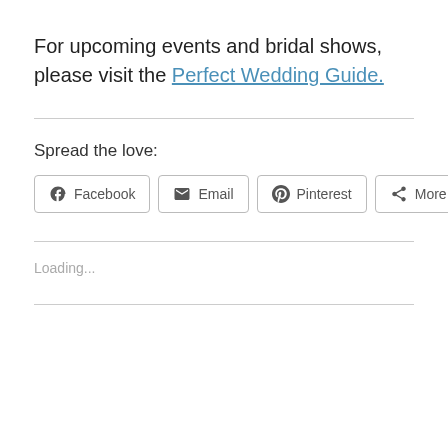For upcoming events and bridal shows, please visit the Perfect Wedding Guide.
Spread the love:
[Figure (screenshot): Social sharing buttons: Facebook, Email, Pinterest, More]
Loading...